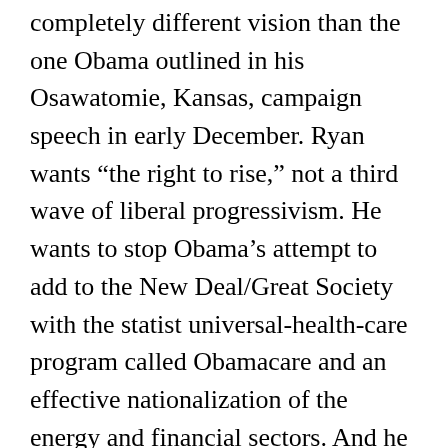completely different vision than the one Obama outlined in his Osawatomie, Kansas, campaign speech in early December. Ryan wants “the right to rise,” not a third wave of liberal progressivism. He wants to stop Obama’s attempt to add to the New Deal/Great Society with the statist universal-health-care program called Obamacare and an effective nationalization of the energy and financial sectors. And he completely rejects Obama’s divisive, big-government, punish-wealth, tax-the-rich leftist populism.

“A ruling system of big business, big